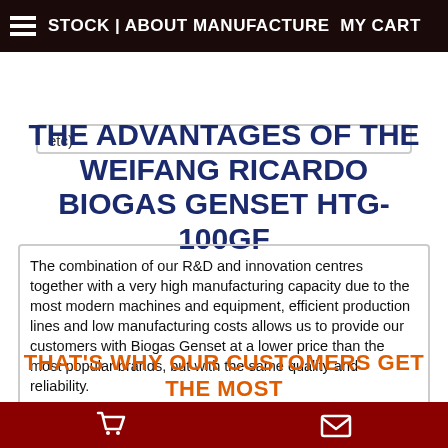STOCK | ABOUT MANUFACTURE MY CART
etc)
THE ADVANTAGES OF THE WEIFANG RICARDO BIOGAS GENSET HTG-100GF
The combination of our R&D and innovation centres together with a very high manufacturing capacity due to the most modern machines and equipment, efficient production lines and low manufacturing costs allows us to provide our customers with Biogas Genset at a lower price than the most popular brands, but with the same quality and reliability.
We are working in conglomeration with the world's biggest brands.
All products are internationally tested and have international quality certificates.
THAT'S WHY OUR CUSTOMERS GET THE MOST